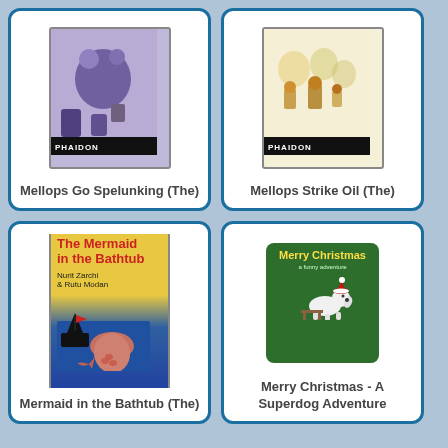[Figure (illustration): Book cover of The Mellops Go Spelunking, purple/blue illustrated cover with PHAIDON label, showing cartoon characters]
Mellops Go Spelunking (The)
[Figure (illustration): Book cover of The Mellops Strike Oil, cream/yellow illustrated cover with PHAIDON label, showing cartoon characters]
Mellops Strike Oil (The)
[Figure (illustration): Book cover of The Mermaid in the Bathtub by Nurit Zarchi and Rutu Modan, showing a mermaid illustration on yellow and blue background]
Mermaid in the Bathtub (The)
[Figure (illustration): Book cover of Merry Christmas - A Superdog Adventure, green cover with a cartoon dog wearing a Santa hat]
Merry Christmas - A Superdog Adventure